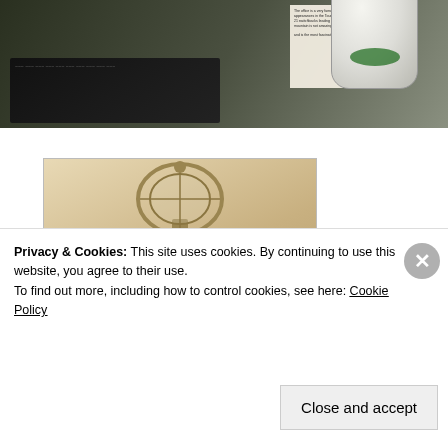[Figure (photo): Top portion showing a photograph of an open book/magazine on a table with a Starbucks cup, page text visible]
[Figure (illustration): Book cover for 'The Insecure Writer's Support Group' showing a lantern/lamp graphic with orange and white text on a warm brown background]
Privacy & Cookies: This site uses cookies. By continuing to use this website, you agree to their use.
To find out more, including how to control cookies, see here: Cookie Policy
Close and accept